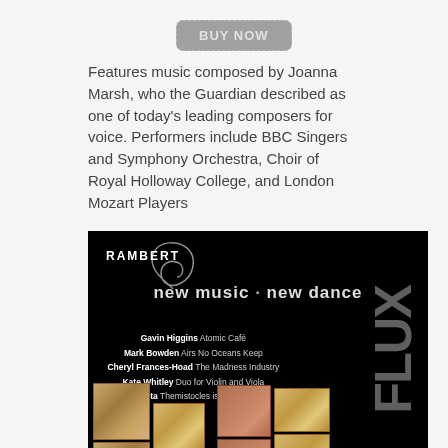[Figure (other): A 'BUY NOW' button with grey rounded rectangle style]
Features music composed by Joanna Marsh, who the Guardian described as one of today's leading composers for voice. Performers include BBC Singers and Symphony Orchestra, Choir of Royal Holloway College, and London Mozart Players
[Figure (photo): Album cover for 'FLUX' by Rambert - black background with 'new music · new dance' text, tracklist including Gavin Higgins (Atomic Café), Mark Bowden (Airs No Oceans Keep), Cheryl Frances-Hoad (The Madness Industry), Kate Whitley (Duo for Violin and Viola), Quinta (Themistocles is Captured), large FLUX text on right side, mosaic tile artwork at bottom]